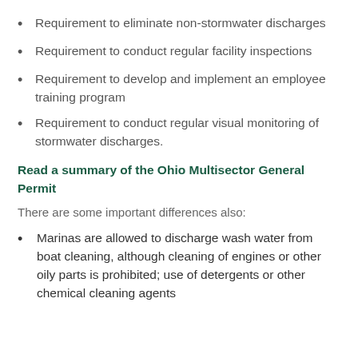Requirement to eliminate non-stormwater discharges
Requirement to conduct regular facility inspections
Requirement to develop and implement an employee training program
Requirement to conduct regular visual monitoring of stormwater discharges.
Read a summary of the Ohio Multisector General Permit
There are some important differences also:
Marinas are allowed to discharge wash water from boat cleaning, although cleaning of engines or other oily parts is prohibited; use of detergents or other chemical cleaning agents